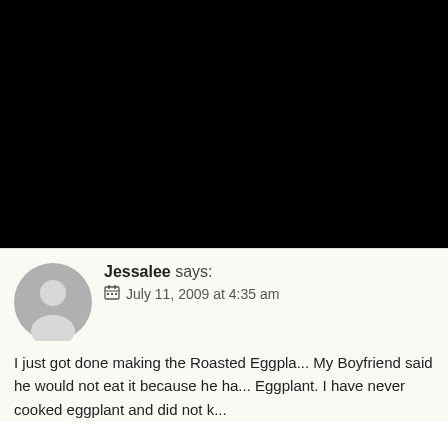[Figure (other): Black rectangle occupying top portion of page, likely a covered image or video placeholder]
Jessalee says:
July 11, 2009 at 4:35 am
I just got done making the Roasted Eggpla... My Boyfriend said he would not eat it because he ha... Eggplant. I have never cooked eggplant and did not k... would like it either. So I made him taste it and He loved it...